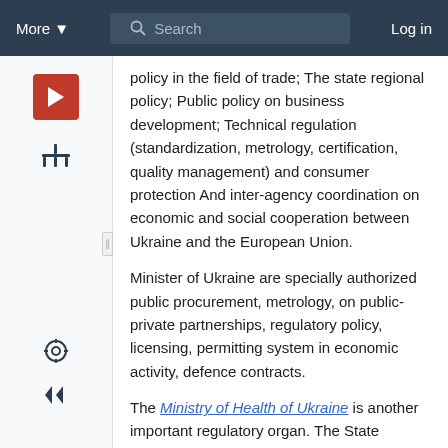More ▾   Search   Log in
policy in the field of trade; The state regional policy; Public policy on business development; Technical regulation (standardization, metrology, certification, quality management) and consumer protection And inter-agency coordination on economic and social cooperation between Ukraine and the European Union.
Minister of Ukraine are specially authorized public procurement, metrology, on public-private partnerships, regulatory policy, licensing, permitting system in economic activity, defence contracts.
The Ministry of Health of Ukraine is another important regulatory organ. The State Sanitary-Epidemiology Services of Ukraine is part of the Ministry of Health and exercises control and supervision over compliance with the standards and specifications during transportation, storage and use (operation) of